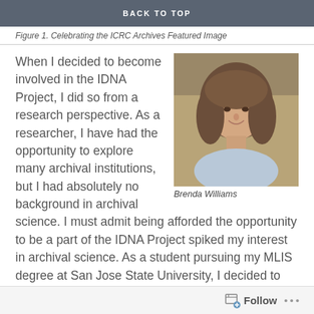BACK TO TOP
Figure 1. Celebrating the ICRC Archives Featured Image
[Figure (photo): Portrait photo of Brenda Williams, a woman with shoulder-length brown hair, smiling, wearing a light blue top, against a warm brown background.]
Brenda Williams
When I decided to become involved in the IDNA Project, I did so from a research perspective. As a researcher, I have had the opportunity to explore many archival institutions, but I had absolutely no background in archival science. I must admit being afforded the opportunity to be a part of the IDNA Project spiked my interest in archival science. As a student pursuing my MLIS degree at San Jose State University, I decided to enroll in a few MARA classes in my last year of study.
Follow ...